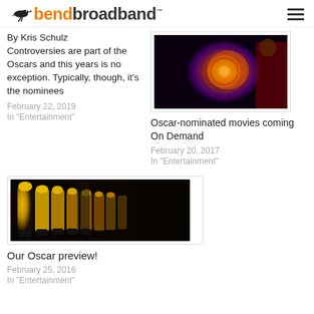bendbroadband
By Kris Schulz
Controversies are part of the Oscars and this years is no exception. Typically, though, it's the nominees
February 22, 2019
In "Entertainment"
[Figure (photo): Movie still with orange mystical circular light effect, dark background]
Oscar-nominated movies coming On Demand
February 20, 2017
In "Entertainment"
[Figure (photo): Row of golden Oscar statuettes on a dark background]
Our Oscar preview!
February 25, 2016
In "Entertainment"